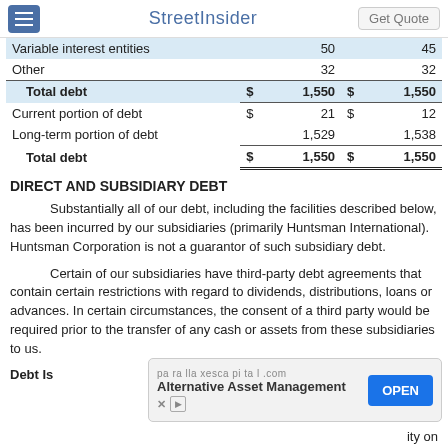StreetInsider | Get Quote
|  | $ |  | $ |  |
| --- | --- | --- | --- | --- |
| Variable interest entities |  | 50 |  | 45 |
| Other |  | 32 |  | 32 |
| Total debt | $ | 1,550 | $ | 1,550 |
| Current portion of debt | $ | 21 | $ | 12 |
| Long-term portion of debt |  | 1,529 |  | 1,538 |
| Total debt | $ | 1,550 | $ | 1,550 |
DIRECT AND SUBSIDIARY DEBT
Substantially all of our debt, including the facilities described below, has been incurred by our subsidiaries (primarily Huntsman International). Huntsman Corporation is not a guarantor of such subsidiary debt.
Certain of our subsidiaries have third-party debt agreements that contain certain restrictions with regard to dividends, distributions, loans or advances. In certain circumstances, the consent of a third party would be required prior to the transfer of any cash or assets from these subsidiaries to us.
Debt Is... ity on